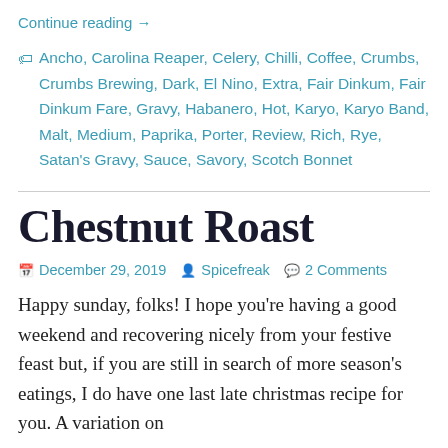Continue reading →
🏷 Ancho, Carolina Reaper, Celery, Chilli, Coffee, Crumbs, Crumbs Brewing, Dark, El Nino, Extra, Fair Dinkum, Fair Dinkum Fare, Gravy, Habanero, Hot, Karyo, Karyo Band, Malt, Medium, Paprika, Porter, Review, Rich, Rye, Satan's Gravy, Sauce, Savory, Scotch Bonnet
Chestnut Roast
December 29, 2019   Spicefreak   2 Comments
Happy sunday, folks! I hope you're having a good weekend and recovering nicely from your festive feast but, if you are still in search of more season's eatings, I do have one last late christmas recipe for you. A variation on